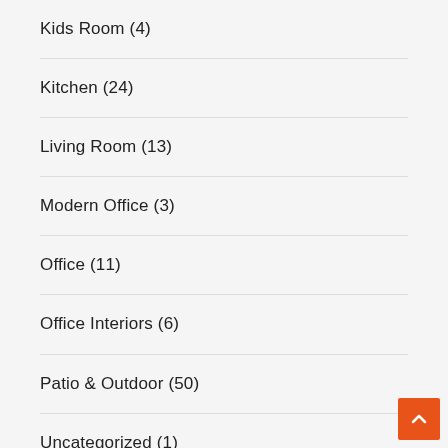Kids Room (4)
Kitchen (24)
Living Room (13)
Modern Office (3)
Office (11)
Office Interiors (6)
Patio & Outdoor (50)
Uncategorized (1)